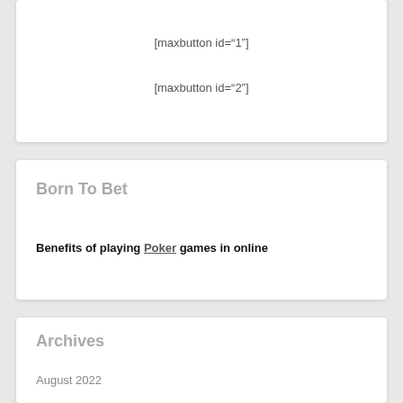[maxbutton id="1"]
[maxbutton id="2"]
Born To Bet
Benefits of playing Poker games in online
Archives
August 2022